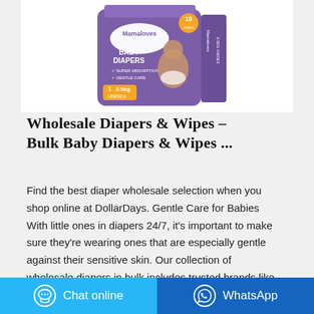[Figure (photo): Purple Mamaloves Baby Diapers product box, size 1, 2-5kg, Unisex, 18 count, showing a baby on the front, with super absorption and gentle care branding.]
Wholesale Diapers & Wipes – Bulk Baby Diapers & Wipes ...
Find the best diaper wholesale selection when you shop online at DollarDays. Gentle Care for Babies With little ones in diapers 24/7, it's important to make sure they're wearing ones that are especially gentle against their sensitive skin. Our collection of wholesale diapers in bulk includes trusted brands like Huggies and Pampers to …
Chat online | WhatsApp